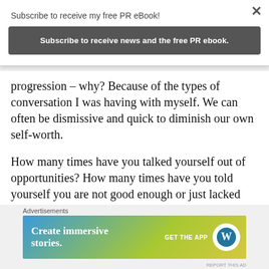Subscribe to receive my free PR eBook!
Subscribe to receive news and the free PR ebook.
progression – why? Because of the types of conversation I was having with myself. We can often be dismissive and quick to diminish our own self-worth.
How many times have you talked yourself out of opportunities? How many times have you told yourself you are not good enough or just lacked self-belief to go for what you really want in life? Don't deprive yourself of your goals and
Advertisements
[Figure (other): WordPress app advertisement banner: 'Create immersive stories. GET THE APP' with WordPress logo]